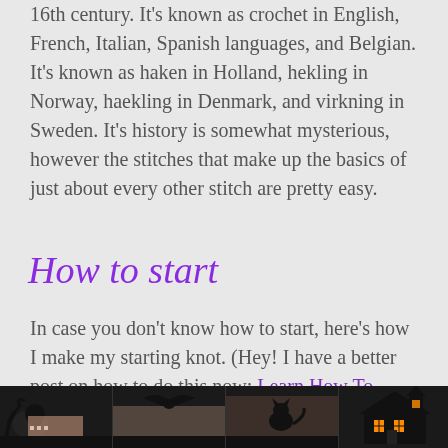16th century. It's known as crochet in English, French, Italian, Spanish languages, and Belgian. It's known as haken in Holland, hekling in Norway, haekling in Denmark, and virkning in Sweden. It's history is somewhat mysterious, however the stitches that make up the basics of just about every other stitch are pretty easy.
How to start
In case you don't know how to start, here's how I make my starting knot. (Hey! I have a better post on how to do this now: Learn How To Crochet A Starting Knot)
[Figure (photo): Dark footer bar with Halloween-themed silhouette images including a ghost/skull figure, a bat, haunted house, and other spooky decorations against a dark background]